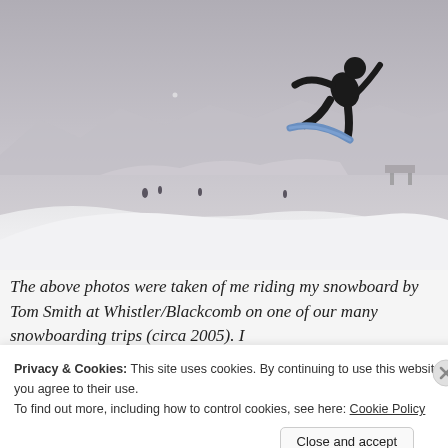[Figure (photo): A snowboarder silhouetted against a grey sky, performing a trick in the air above a snowy slope at Whistler/Blackcomb. Snowy mountains visible in the background.]
The above photos were taken of me riding my snowboard by Tom Smith at Whistler/Blackcomb on one of our many snowboarding trips (circa 2005). I
Privacy & Cookies: This site uses cookies. By continuing to use this website, you agree to their use.
To find out more, including how to control cookies, see here: Cookie Policy
Close and accept